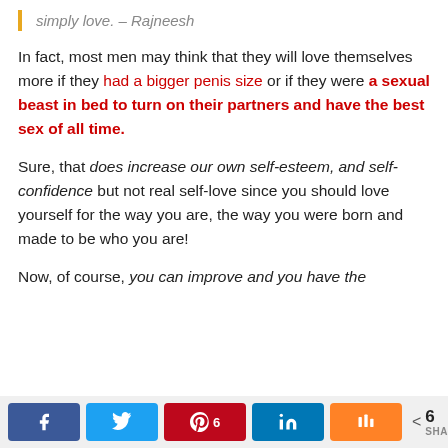simply love. – Rajneesh
In fact, most men may think that they will love themselves more if they had a bigger penis size or if they were a sexual beast in bed to turn on their partners and have the best sex of all time.
Sure, that does increase our own self-esteem, and self-confidence but not real self-love since you should love yourself for the way you are, the way you were born and made to be who you are!
Now, of course, you can improve and you have the
Social share buttons: Facebook, Twitter, Pinterest (6), LinkedIn, Mix | < 6 SHARES